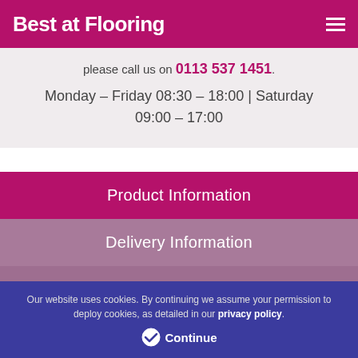Best at Flooring
please call us on 0113 537 1451.
Monday – Friday 08:30 – 18:00 | Saturday 09:00 – 17:00
Product Information
Delivery Information
Accessories
Similar Products
Our website uses cookies. By continuing we assume your permission to deploy cookies, as detailed in our privacy policy.
Continue